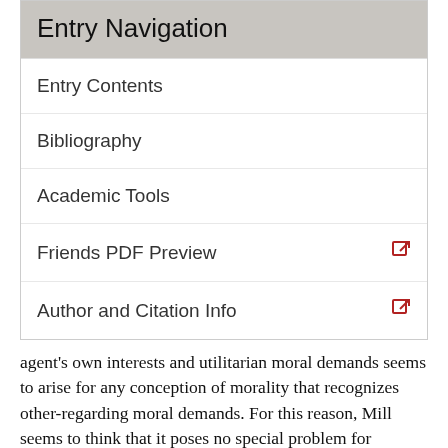Entry Navigation
Entry Contents
Bibliography
Academic Tools
Friends PDF Preview
Author and Citation Info
agent's own interests and utilitarian moral demands seems to arise for any conception of morality that recognizes other-regarding moral demands. For this reason, Mill seems to think that it poses no special problem for utilitarianism (III 1, 2, 3, 6).
Is Mill right that there is no special threat to utilitarianism here? One might wonder whether utilitarianism makes greater demands on agents than other moral theories. Contemporary writers have argued that utilitarianism seems to be potentially very demanding, much more so